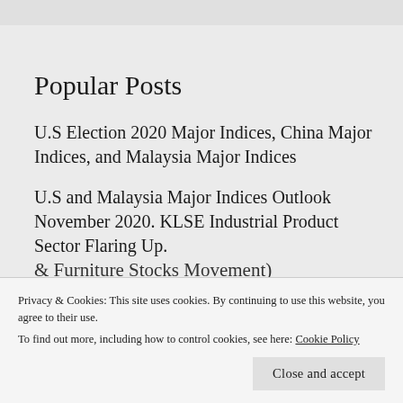Popular Posts
U.S Election 2020 Major Indices, China Major Indices, and Malaysia Major Indices
U.S and Malaysia Major Indices Outlook November 2020. KLSE Industrial Product Sector Flaring Up.
Vaccine Stocks Retracement Game.
Privacy & Cookies: This site uses cookies. By continuing to use this website, you agree to their use.
To find out more, including how to control cookies, see here: Cookie Policy
Close and accept
& Furniture Stocks Movement)